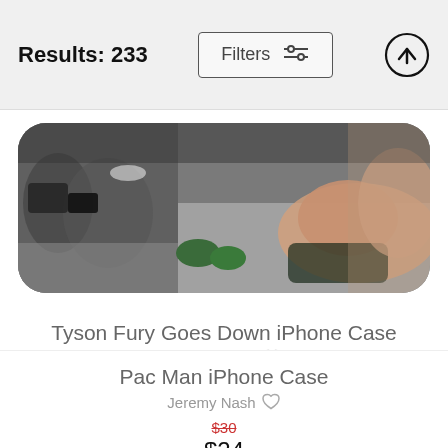Results: 233
[Figure (photo): Product photo of a boxing scene used as iPhone case design — Tyson Fury going down on the canvas, surrounded by photographers and cornermen.]
Tyson Fury Goes Down iPhone Case
Brian Reaves
$25 (original, crossed out) $20
Pac Man iPhone Case
Jeremy Nash
$30 (original, crossed out) $24